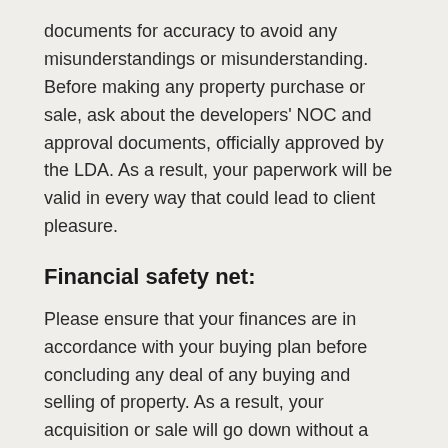documents for accuracy to avoid any misunderstandings or misunderstanding. Before making any property purchase or sale, ask about the developers' NOC and approval documents, officially approved by the LDA. As a result, your paperwork will be valid in every way that could lead to client pleasure.
Financial safety net:
Please ensure that your finances are in accordance with your buying plan before concluding any deal of any buying and selling of property. As a result, your acquisition or sale will go down without a hitch.
Visits to Properties:
Inspect the property on the ground before